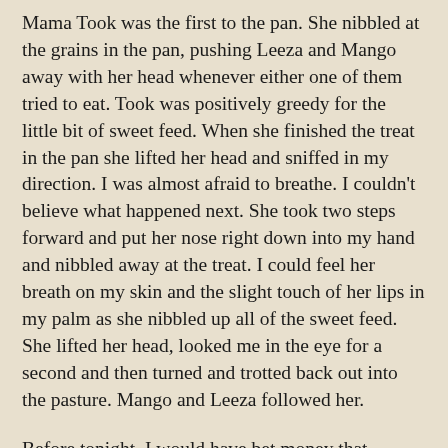Mama Took was the first to the pan. She nibbled at the grains in the pan, pushing Leeza and Mango away with her head whenever either one of them tried to eat. Took was positively greedy for the little bit of sweet feed. When she finished the treat in the pan she lifted her head and sniffed in my direction. I was almost afraid to breathe. I couldn't believe what happened next. She took two steps forward and put her nose right down into my hand and nibbled away at the treat. I could feel her breath on my skin and the slight touch of her lips in my palm as she nibbled up all of the sweet feed. She lifted her head, looked me in the eye for a second and then turned and trotted back out into the pasture. Mango and Leeza followed her.
Before tonight, I would have bet money that Mango would be the first to eat out of our hands because she is so curious and because she is the one who consistently approaches and sniffs at me. I knew that Leeza probably wouldn't ever eat our of our hands because she is so timid. Took is usually the one with her ears drawn back humming a warning at Mango when the baby gets to close to us. Apparently the lure of sweet food was too strong to resist.